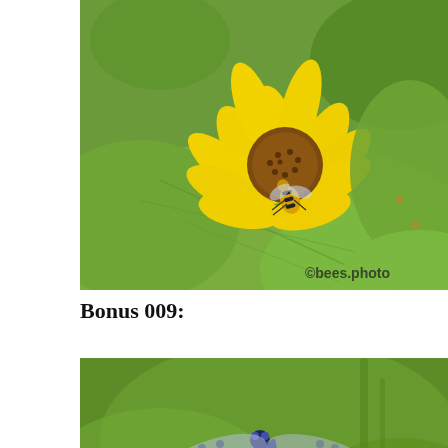[Figure (photo): Close-up photograph of a bee on a bright yellow sunflower, set against a green leafy background. Watermark reads ©bees.photo in the bottom-right corner.]
Bonus 009:
[Figure (photo): Close-up photograph of a dragonfly with spotted blue/purple wings, photographed against a blurred green background.]